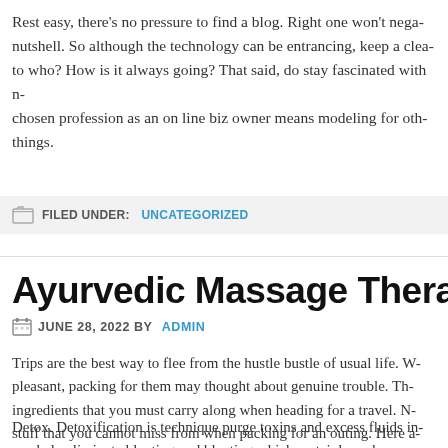Rest easy, there's no pressure to find a blog. Right one won't nega- nutshell. So although the technology can be entrancing, keep a clea- to who? How is it always going? That said, do stay fascinated with m- chosen profession as an on line biz owner means modeling for oth- things.
FILED UNDER: UNCATEGORIZED
Ayurvedic Massage Therapy In
JUNE 28, 2022 BY ADMIN
Trips are the best way to flee from the hustle bustle of usual life. W- pleasant, packing for them may thought about genuine trouble. Th- ingredients that you must carry along when heading for a travel. N- stuff that you cannot miss from when packing for an outing. Here a-
Detox. Detoxification is technique purge toxins and excess fluids in- can help eliminate bloating and bloating which certainly make you-